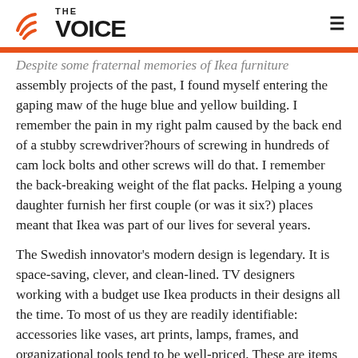THE VOICE
Despite some fraternal memories of Ikea furniture assembly projects of the past, I found myself entering the gaping maw of the huge blue and yellow building. I remember the pain in my right palm caused by the back end of a stubby screwdriver?hours of screwing in hundreds of cam lock bolts and other screws will do that. I remember the back-breaking weight of the flat packs. Helping a young daughter furnish her first couple (or was it six?) places meant that Ikea was part of our lives for several years.
The Swedish innovator's modern design is legendary. It is space-saving, clever, and clean-lined. TV designers working with a budget use Ikea products in their designs all the time. To most of us they are readily identifiable: accessories like vases, art prints, lamps, frames, and organizational tools tend to be well-priced. These are items that are replaced often, as tastes and trends change.
It's when you look at the furniture that quality drops and